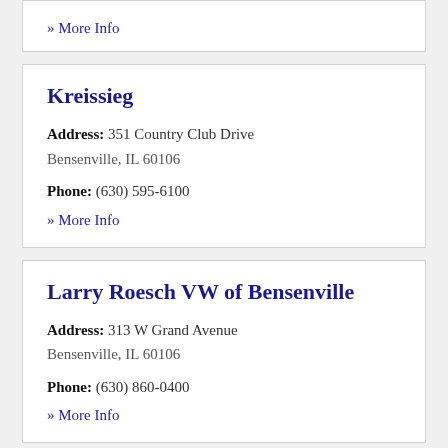» More Info
Kreissieg
Address: 351 Country Club Drive Bensenville, IL 60106
Phone: (630) 595-6100
» More Info
Larry Roesch VW of Bensenville
Address: 313 W Grand Avenue Bensenville, IL 60106
Phone: (630) 860-0400
» More Info